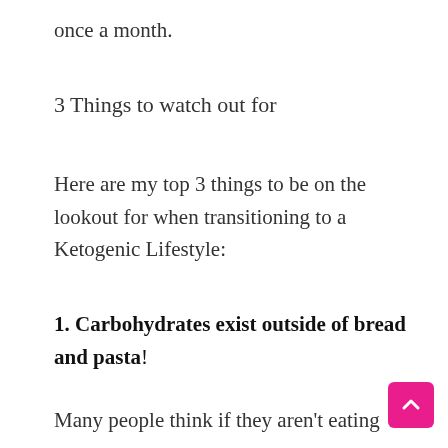once a month.
3 Things to watch out for
Here are my top 3 things to be on the lookout for when transitioning to a Ketogenic Lifestyle:
1. Carbohydrates exist outside of bread and pasta!
Many people think if they aren't eating